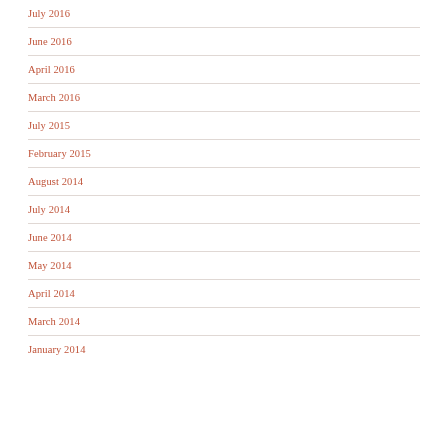July 2016
June 2016
April 2016
March 2016
July 2015
February 2015
August 2014
July 2014
June 2014
May 2014
April 2014
March 2014
January 2014